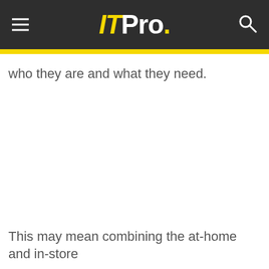ITPro.
who they are and what they need.
This may mean combining the at-home and in-store